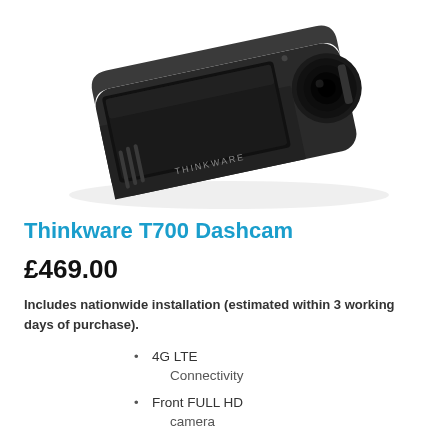[Figure (photo): Thinkware T700 dashcam product photo showing a black dash camera unit with a circular lens on the right side, viewed from an angle, with THINKWARE branding visible on the body.]
Thinkware T700 Dashcam
£469.00
Includes nationwide installation (estimated within 3 working days of purchase).
4G LTE Connectivity
Front FULL HD camera